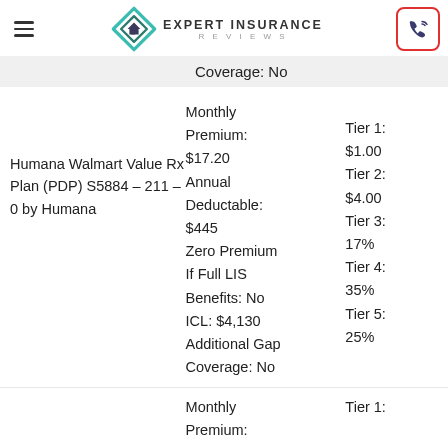Expert Insurance Reviews
Coverage: No
Humana Walmart Value Rx Plan (PDP) S5884 – 211 – 0 by Humana | Monthly Premium: $17.20 | Annual Deductable: $445 | Zero Premium If Full LIS Benefits: No | ICL: $4,130 | Additional Gap Coverage: No | Tier 1: $1.00 | Tier 2: $4.00 | Tier 3: 17% | Tier 4: 35% | Tier 5: 25%
Monthly Premium: | Tier 1: | $17.20 | $0.00